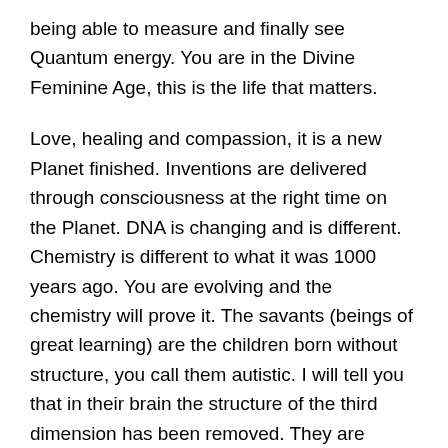being able to measure and finally see Quantum energy. You are in the Divine Feminine Age, this is the life that matters.
Love, healing and compassion, it is a new Planet finished. Inventions are delivered through consciousness at the right time on the Planet. DNA is changing and is different. Chemistry is different to what it was 1000 years ago. You are evolving and the chemistry will prove it. The savants (beings of great learning) are the children born without structure, you call them autistic. I will tell you that in their brain the structure of the third dimension has been removed. They are Quantum individuals to the maximum, they respond very badly and poorly in a three dimensional structure.
Some of them do not even want to put words together, because they do not understand one word after another. I want to tell you this Dear Ones, that it is a savant and that is